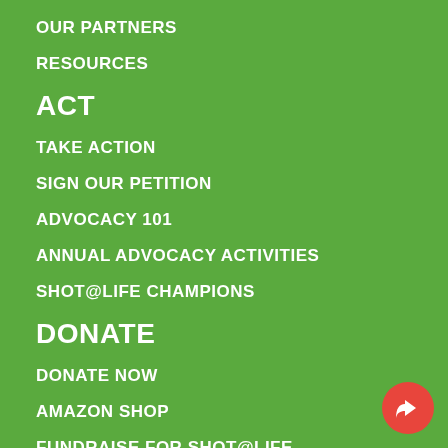OUR PARTNERS
RESOURCES
ACT
TAKE ACTION
SIGN OUR PETITION
ADVOCACY 101
ANNUAL ADVOCACY ACTIVITIES
SHOT@LIFE CHAMPIONS
DONATE
DONATE NOW
AMAZON SHOP
FUNDRAISE FOR SHOT@LIFE
[Figure (illustration): Red circular share/forward button in bottom right corner]